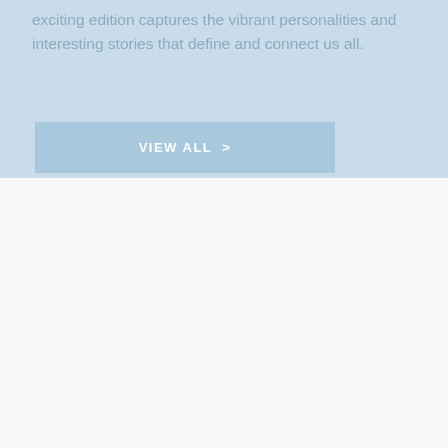exciting edition captures the vibrant personalities and interesting stories that define and connect us all.
VIEW ALL  >